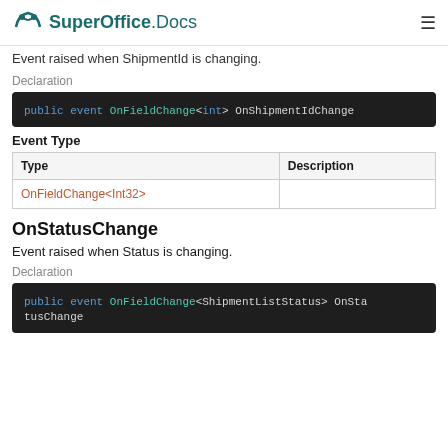SuperOffice Docs
Event raised when ShipmentId is changing.
Declaration
public event OnFieldChange<int> OnShipmentIdChange
Event Type
| Type | Description |
| --- | --- |
| OnFieldChange<Int32> |  |
OnStatusChange
Event raised when Status is changing.
Declaration
public event OnFieldChange<ShipmentListStatus> OnStatusChange